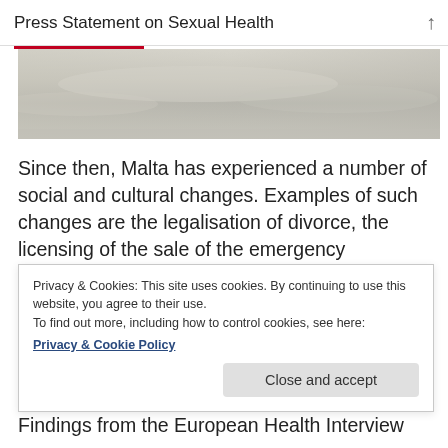Press Statement on Sexual Health
[Figure (photo): Blurred landscape/sky photo in muted gray-green tones, partially cropped at top]
Since then, Malta has experienced a number of social and cultural changes. Examples of such changes are the legalisation of divorce, the licensing of the sale of the emergency contraception “morning-after pill” and major changes in legislation pertaining to lesbian
Privacy & Cookies: This site uses cookies. By continuing to use this website, you agree to their use.
To find out more, including how to control cookies, see here:
Privacy & Cookie Policy
Findings from the European Health Interview